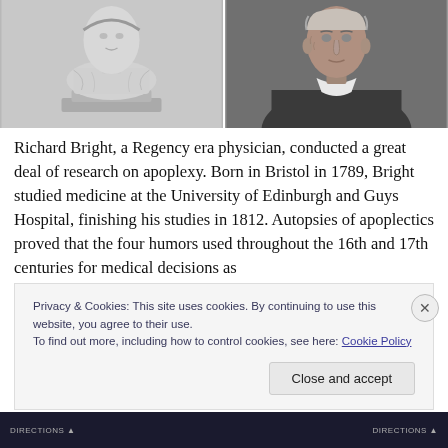[Figure (photo): Two black and white images side by side: left is a marble bust sculpture of Richard Bright, right is a portrait photograph of Richard Bright as an elderly man wearing a dark coat and white cravat.]
Richard Bright, a Regency era physician, conducted a great deal of research on apoplexy. Born in Bristol in 1789, Bright studied medicine at the University of Edinburgh and Guys Hospital, finishing his studies in 1812. Autopsies of apoplectics proved that the four humors used throughout the 16th and 17th centuries for medical decisions as
Privacy & Cookies: This site uses cookies. By continuing to use this website, you agree to their use.
To find out more, including how to control cookies, see here: Cookie Policy